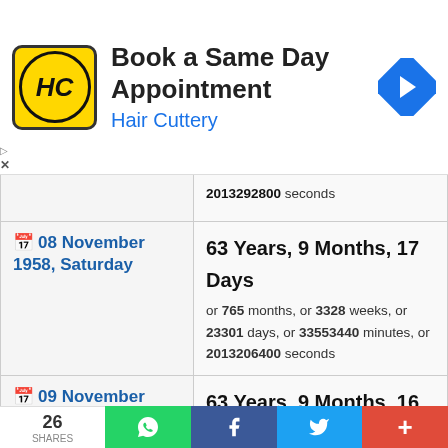[Figure (screenshot): Hair Cuttery ad banner: Book a Same Day Appointment]
| Date | Duration |
| --- | --- |
|  | 2013292800 seconds |
| 08 November 1958, Saturday | 63 Years, 9 Months, 17 Days
or 765 months, or 3328 weeks, or 23301 days, or 33553440 minutes, or 2013206400 seconds |
| 09 November 1958, Sunday | 63 Years, 9 Months, 16 Days
or 765 months, or 3328 weeks, or 23300 days, or 33552000 minutes, or 2013120000 seconds |
| 10 November 1958, Monday | 63 Years, 9 Months, 15 Days
or 765 months, or 3328 weeks, or 23299 ... |
[Figure (screenshot): Bottom social sharing bar: 26 shares, WhatsApp, Facebook, Twitter, More buttons]